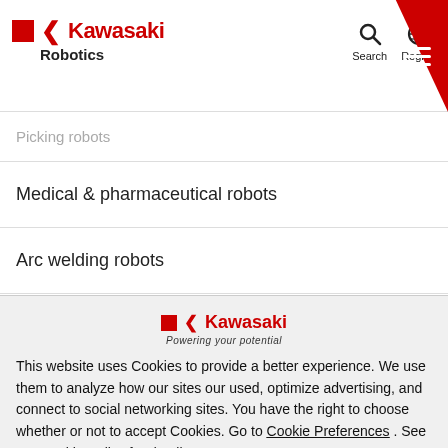Kawasaki Robotics
Picking robots
Medical & pharmaceutical robots
Arc welding robots
Sealing robots
[Figure (logo): Kawasaki Robotics logo with tagline 'Powering your potential']
This website uses Cookies to provide a better experience. We use them to analyze how our sites our used, optimize advertising, and connect to social networking sites. You have the right to choose whether or not to accept Cookies. Go to Cookie Preferences . See our Cookie Policy for details.